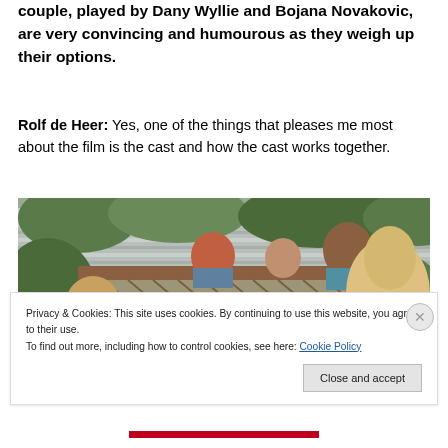couple, played by Dany Wyllie and Bojana Novakovic, are very convincing and humourous as they weigh up their options.
Rolf de Heer: Yes, one of the things that pleases me most about the film is the cast and how the cast works together.
[Figure (photo): A group of people looking over a wooden fence surrounded by greenery. Two people in foreground, several others peering over the fence including children and adults.]
Privacy & Cookies: This site uses cookies. By continuing to use this website, you agree to their use.
To find out more, including how to control cookies, see here: Cookie Policy